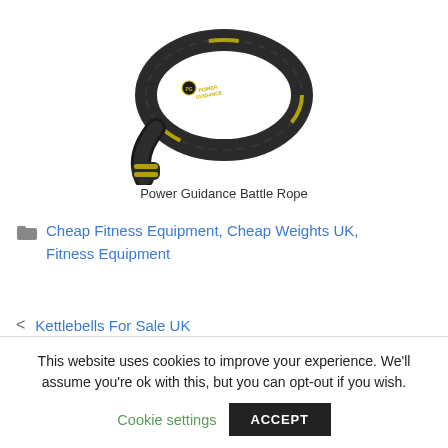[Figure (photo): A black battle rope coiled up with yellow Power Guidance branding/logo visible on the rope and handle wrap.]
Power Guidance Battle Rope
Cheap Fitness Equipment, Cheap Weights UK, Fitness Equipment
Kettlebells For Sale UK
Merax Boxing Power Tower UK
This website uses cookies to improve your experience. We'll assume you're ok with this, but you can opt-out if you wish.
Cookie settings | ACCEPT